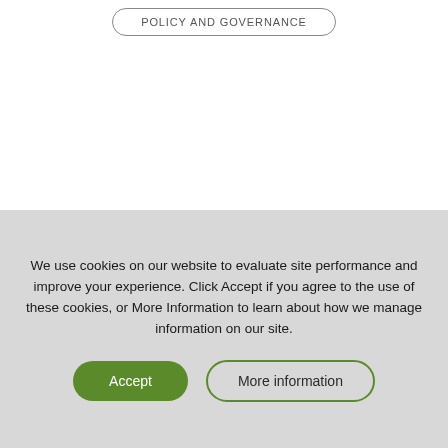POLICY AND GOVERNANCE
We use cookies on our website to evaluate site performance and improve your experience. Click Accept if you agree to the use of these cookies, or More Information to learn about how we manage information on our site.
Accept
More information